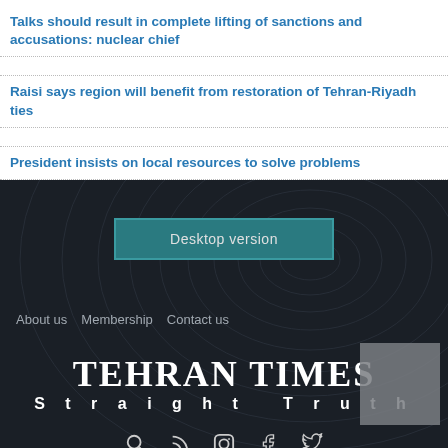Talks should result in complete lifting of sanctions and accusations: nuclear chief
Raisi says region will benefit from restoration of Tehran-Riyadh ties
President insists on local resources to solve problems
[Figure (screenshot): Dark background section with fingerprint/circular pattern overlay]
Desktop version
About us   Membership   Contact us
TEHRAN TIMES Straight Truth
[Figure (infographic): Social media icons: search, RSS, Instagram, Facebook, Twitter]